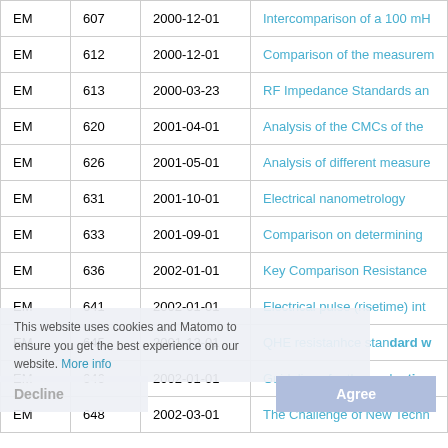|  |  |  |  |
| --- | --- | --- | --- |
| EM | 607 | 2000-12-01 | Intercomparison of a 100 mH... |
| EM | 612 | 2000-12-01 | Comparison of the measurem... |
| EM | 613 | 2000-03-23 | RF Impedance Standards an... |
| EM | 620 | 2001-04-01 | Analysis of the CMCs of the... |
| EM | 626 | 2001-05-01 | Analysis of different measure... |
| EM | 631 | 2001-10-01 | Electrical nanometrology |
| EM | 633 | 2001-09-01 | Comparison on determining... |
| EM | 636 | 2002-01-01 | Key Comparison Resistance... |
| EM | 641 | 2002-01-01 | Electrical pulse (risetime) int... |
| EM | 645 | 2001-12-01 | QHE resistanhce standard w... |
| EM | 646 | 2002-01-01 | Guidelines for the evaluation... |
| EM | 648 | 2002-03-01 | The Challenge of New Techn... |
This website uses cookies and Matomo to ensure you get the best experience on our website. More info